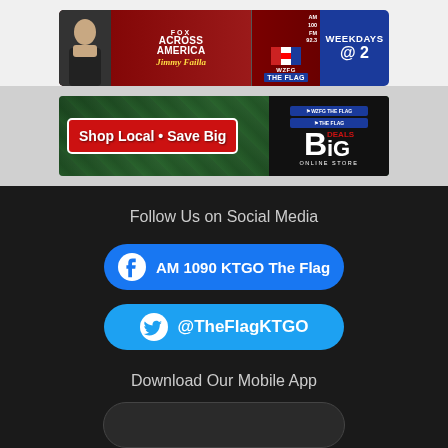[Figure (illustration): Fox Across America with Jimmy Failla banner ad. Red background with photo of man, WZFG The Flag AM/FM logo, and WEEKDAYS @2 on blue background.]
[Figure (illustration): Shop Local Save Big banner ad with Big Deals Online Store logo for The Flag radio station.]
Follow Us on Social Media
[Figure (illustration): Facebook button: AM 1090 KTGO The Flag]
[Figure (illustration): Twitter button: @TheFlagKTGO]
Download Our Mobile App